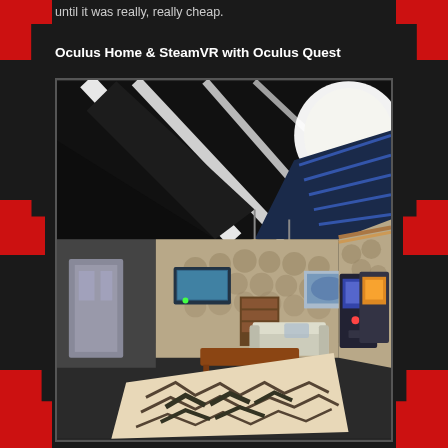until it was really, really cheap.
Oculus Home & SteamVR with Oculus Quest
[Figure (photo): Screenshot of Oculus Home virtual reality environment showing a stylized room with arcade machines, a couch, coffee table, bookshelves, TV, patterned rug, and decorative walls with circular patterns. The ceiling has black and white geometric panels.]